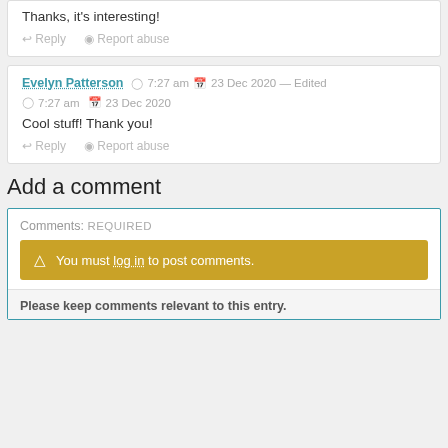Thanks, it's interesting!
Reply  Report abuse
Evelyn Patterson  7:27 am  23 Dec 2020 — Edited  7:27 am  23 Dec 2020
Cool stuff! Thank you!
Reply  Report abuse
Add a comment
Comments: REQUIRED
You must log in to post comments.
Please keep comments relevant to this entry.